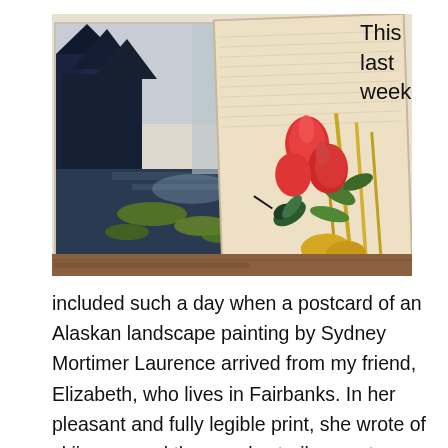[Figure (photo): Two overlapping art cards/postcards on a wooden surface. Left card shows an Alaskan landscape painting with dark forest trees and a reflective body of water with green lily pads. Right card shows a botanical illustration of a hummingbird with red and pink flowers (possibly tulips/camellias) and yellow grasses, with handwritten text visible on the background.]
This last week
included such a day when a postcard of an Alaskan landscape painting by Sydney Mortimer Laurence arrived from my friend, Elizabeth, who lives in Fairbanks. In her pleasant and fully legible print, she wrote of skiing around the woodsy trails near town, camaraderie and friendship, and how the approach of spring brings deep